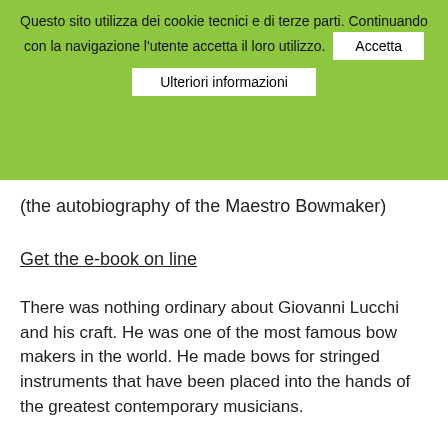Questo sito utilizza dei cookie tecnici e di terze parti. Continuando con la navigazione l'utente accetta il loro utilizzo. [Accetta] [Ulteriori informazioni]
(the autobiography of the Maestro Bowmaker)
Get the e-book on line
There was nothing ordinary about Giovanni Lucchi and his craft. He was one of the most famous bow makers in the world. He made bows for stringed instruments that have been placed into the hands of the greatest contemporary musicians.
Elegant, a little ‘sly, serious and playful at the same time’, Giovanni Lucchi stayed focused in his laboratory, but was always open to the world, aiming to grasp every little vibration. The exact moment when it was decided to tell his story was a unique experience. The scarf around his